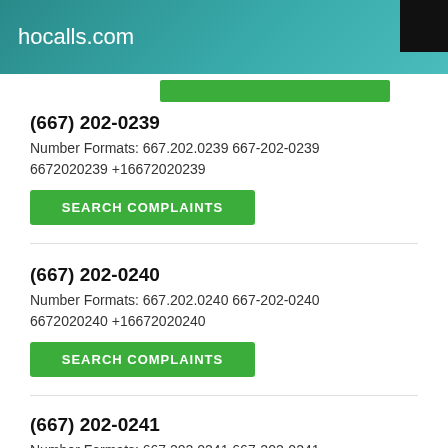hocalls.com
(667) 202-0239
Number Formats: 667.202.0239 667-202-0239 6672020239 +16672020239
SEARCH COMPLAINTS
(667) 202-0240
Number Formats: 667.202.0240 667-202-0240 6672020240 +16672020240
SEARCH COMPLAINTS
(667) 202-0241
Number Formats: 667.202.0241 667-202-0241 6672020241 +16672020241
SEARCH COMPLAINTS